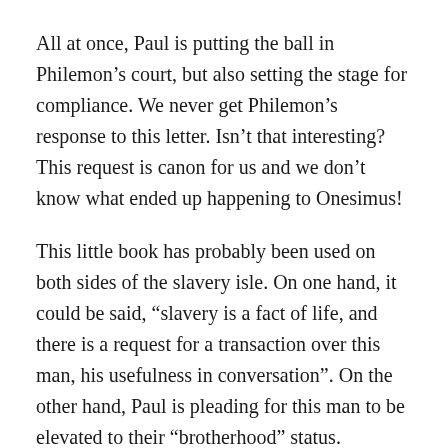All at once, Paul is putting the ball in Philemon’s court, but also setting the stage for compliance. We never get Philemon’s response to this letter. Isn’t that interesting? This request is canon for us and we don’t know what ended up happening to Onesimus!
This little book has probably been used on both sides of the slavery isle. On one hand, it could be said, “slavery is a fact of life, and there is a request for a transaction over this man, his usefulness in conversation”. On the other hand, Paul is pleading for this man to be elevated to their “brotherhood” status.
Anyway, I think the point I tend to glean from this, is that no matter our stations in life: customer service rep